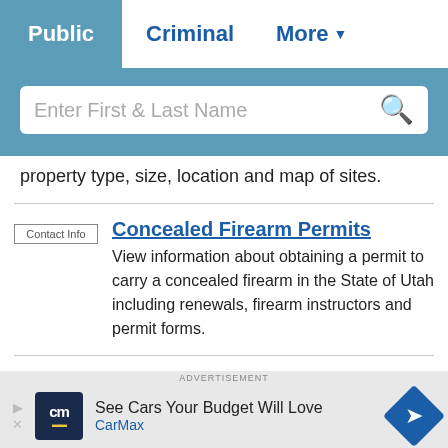Public  Criminal  More
[Figure (screenshot): Search bar with placeholder text 'Enter First & Last Name' and search icon]
property type, size, location and map of sites.
Contact Info
Concealed Firearm Permits
View information about obtaining a permit to carry a concealed firearm in the State of Utah including renewals, firearm instructors and permit forms.
Free Search
Consumer Complaints
View scam alerts from State of Utah Consumer
ADVERTISEMENT
See Cars Your Budget Will Love
CarMax